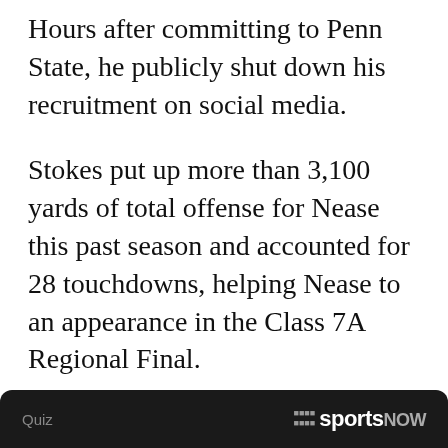Hours after committing to Penn State, he publicly shut down his recruitment on social media.
Stokes put up more than 3,100 yards of total offense for Nease this past season and accounted for 28 touchdowns, helping Nease to an appearance in the Class 7A Regional Final.
A big reason Stokes committed, his head coach, Collin Drafts, told Nittany Sports Now back in April, was Penn State's offensive coordinator and quarterbacks coach, Mike Yurcich.
Quiz  sports NOW